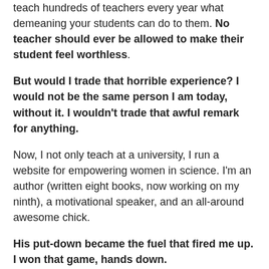teach hundreds of teachers every year what demeaning your students can do to them. No teacher should ever be allowed to make their student feel worthless.
But would I trade that horrible experience? I would not be the same person I am today, without it. I wouldn't trade that awful remark for anything.
Now, I not only teach at a university, I run a website for empowering women in science. I'm an author (written eight books, now working on my ninth), a motivational speaker, and an all-around awesome chick.
His put-down became the fuel that fired me up. I won that game, hands down.
What experiences have you had, in your own life, that fueled your fire? I'd love to hear them in the comments below.